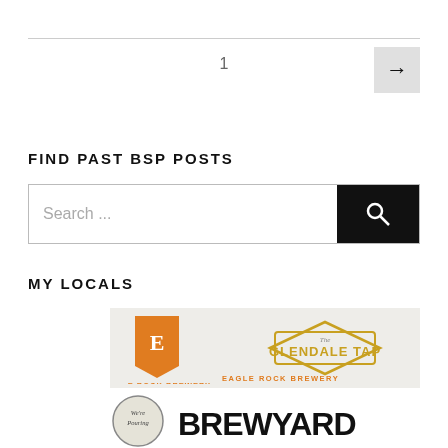1
FIND PAST BSP POSTS
Search ...
MY LOCALS
[Figure (logo): Eagle Rock Brewery logo with orange banner icon and Glendale Tap diamond badge]
[Figure (logo): We're Pouring circular badge and Brewyard text logo]